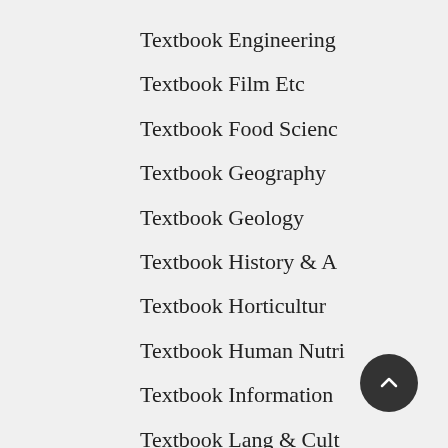Textbook Engineering
Textbook Film Etc
Textbook Food Scienc
Textbook Geography
Textbook Geology
Textbook History & A
Textbook Horticultur
Textbook Human Nutri
Textbook Information
Textbook Lang & Cult
Textbook Law
Textbook Management
Textbook Maori
Textbook Marine Sci